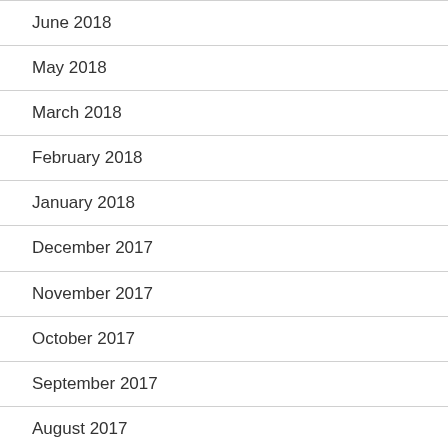June 2018
May 2018
March 2018
February 2018
January 2018
December 2017
November 2017
October 2017
September 2017
August 2017
July 2017